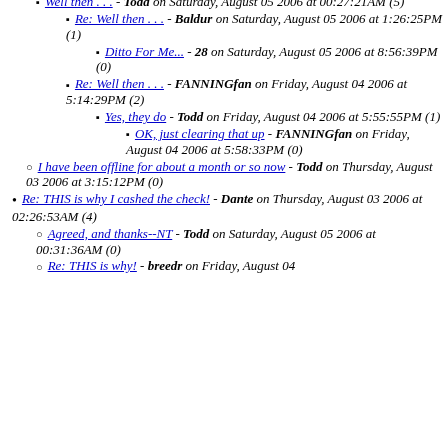Well then . . . - Todd on Saturday, August 05 2006 at 00:27:21AM (5)
Re: Well then . . . - Baldur on Saturday, August 05 2006 at 1:26:25PM (1)
Ditto For Me... - 28 on Saturday, August 05 2006 at 8:56:39PM (0)
Re: Well then . . . - FANNINGfan on Friday, August 04 2006 at 5:14:29PM (2)
Yes, they do - Todd on Friday, August 04 2006 at 5:55:55PM (1)
OK, just clearing that up - FANNINGfan on Friday, August 04 2006 at 5:58:33PM (0)
I have been offline for about a month or so now - Todd on Thursday, August 03 2006 at 3:15:12PM (0)
Re: THIS is why I cashed the check! - Dante on Thursday, August 03 2006 at 02:26:53AM (4)
Agreed, and thanks--NT - Todd on Saturday, August 05 2006 at 00:31:36AM (0)
Re: THIS is why! - breedr on Friday, August 04